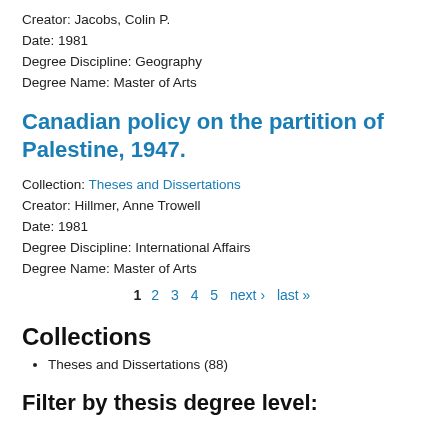Creator: Jacobs, Colin P.
Date: 1981
Degree Discipline: Geography
Degree Name: Master of Arts
Canadian policy on the partition of Palestine, 1947.
Collection: Theses and Dissertations
Creator: Hillmer, Anne Trowell
Date: 1981
Degree Discipline: International Affairs
Degree Name: Master of Arts
1 2 3 4 5 next › last »
Collections
Theses and Dissertations (88)
Filter by thesis degree level: